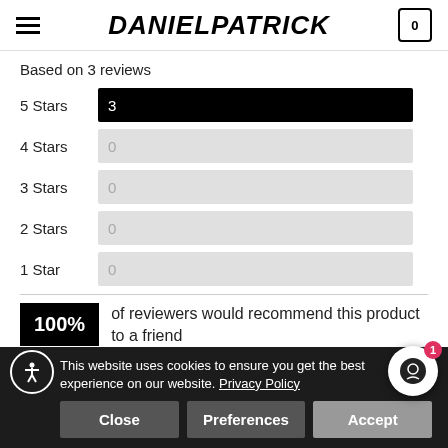DANIELPATRICK
Based on 3 reviews
[Figure (bar-chart): Star rating distribution]
100% of reviewers would recommend this product to a friend
Fit — Runs Small / True to Size / Runs Large (slider)
This website uses cookies to ensure you get the best experience on our website. Privacy Policy
Close  Preferences  Accept